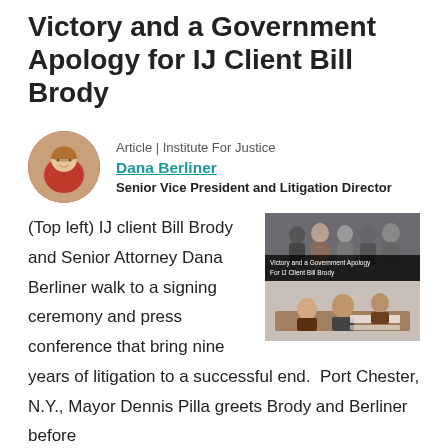Victory and a Government Apology for IJ Client Bill Brody
Article | Institute For Justice
Dana Berliner
Senior Vice President and Litigation Director
[Figure (photo): Circular headshot portrait of Dana Berliner, a woman with blonde hair wearing a red top]
(Top left) IJ client Bill Brody and Senior Attorney Dana Berliner walk to a signing ceremony and press conference that bring nine years of litigation to a successful end.  Port Chester, N.Y., Mayor Dennis Pilla greets Brody and Berliner before the signing ceremony (top right).  Above, Pilla signs
[Figure (screenshot): Thumbnail of a video titled 'Victory and a Government Apology For IJ Client Bill Brody' showing people walking and a signing ceremony]